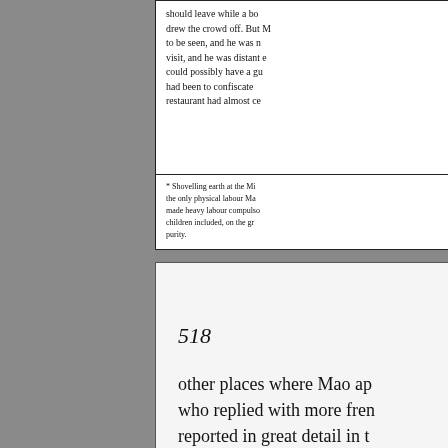should leave while a bo drew the crowd off. But M to be seen, and he was n visit, and he was distant c could possibly have a gu had been to confiscate restaurant had almost ce
* Shovelling earth at the Mi the only physical labour Ma made heavy labour compulso children included, on the gr purity.
518
other places where Mao ap who replied with more fren reported in great detail in t When Mao eventually le